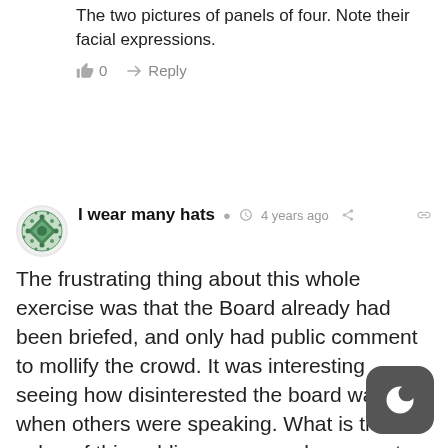The two pictures of panels of four. Note their facial expressions.
👍 0   ➜ Reply
[Figure (illustration): User avatar — circular icon with green decorative geometric pattern]
I wear many hats  🕐 4 years ago  share  link
The frustrating thing about this whole exercise was that the Board already had been briefed, and only had public comment to mollify the crowd. It was interesting seeing how disinterested the board was when others were speaking. What is the value of this public process and comment barrage if 12 people get to derail 2 years of work by the PAC and the BPS? The Board has not heard, or will not hear, that the Forest Park option trails are a disgrace to everyone...